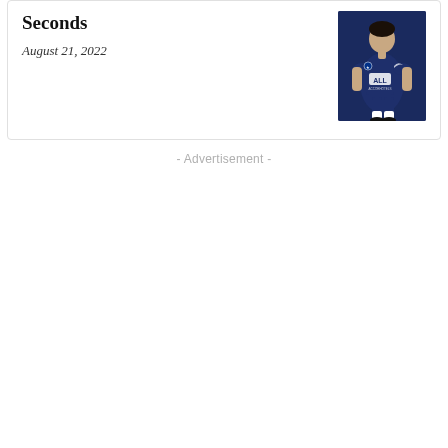Seconds
August 21, 2022
[Figure (photo): Soccer player in dark navy PSG jersey with 'ALL' sponsor logo, running during a match]
- Advertisement -